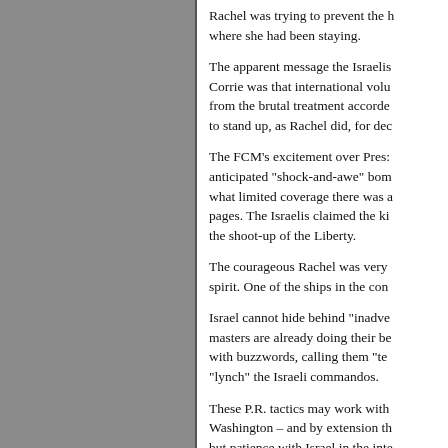Rachel was trying to prevent the house where she had been staying.

The apparent message the Israelis sent by killing Corrie was that international volunteers are not safe from the brutal treatment accorded Palestinians who dare to stand up, as Rachel did, for dec...

The FCM's excitement over Pres... anticipated "shock-and-awe" bom... what limited coverage there was a... pages. The Israelis claimed the ki... the shoot-up of the Liberty.

The courageous Rachel was very... spirit. One of the ships in the con...

Israel cannot hide behind "inadve... masters are already doing their be... with buzzwords, calling them "te... "lynch" the Israeli commandos.

These P.R. tactics may work with... Washington – and by extension th... but patience with Israel in the inte...